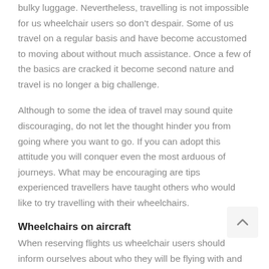bulky luggage. Nevertheless, travelling is not impossible for us wheelchair users so don't despair. Some of us travel on a regular basis and have become accustomed to moving about without much assistance. Once a few of the basics are cracked it become second nature and travel is no longer a big challenge.
Although to some the idea of travel may sound quite discouraging, do not let the thought hinder you from going where you want to go. If you can adopt this attitude you will conquer even the most arduous of journeys. What may be encouraging are tips experienced travellers have taught others who would like to try travelling with their wheelchairs.
Wheelchairs on aircraft
When reserving flights us wheelchair users should inform ourselves about who they will be flying with and what restrictions are made when travelling with a wheel... European legislation assigns airports responsibility to provide assistance to passengers with special needs from